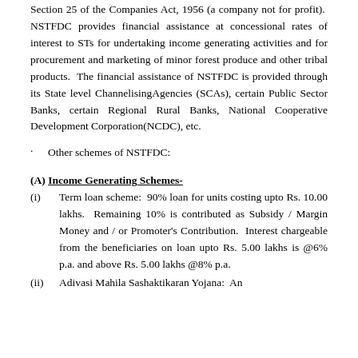Section 25 of the Companies Act, 1956 (a company not for profit). NSTFDC provides financial assistance at concessional rates of interest to STs for undertaking income generating activities and for procurement and marketing of minor forest produce and other tribal products. The financial assistance of NSTFDC is provided through its State level ChannelisingAgencies (SCAs), certain Public Sector Banks, certain Regional Rural Banks, National Cooperative Development Corporation(NCDC), etc.
Other schemes of NSTFDC:
(A) Income Generating Schemes-
(i) Term loan scheme: 90% loan for units costing upto Rs. 10.00 lakhs. Remaining 10% is contributed as Subsidy / Margin Money and / or Promoter's Contribution. Interest chargeable from the beneficiaries on loan upto Rs. 5.00 lakhs is @6% p.a. and above Rs. 5.00 lakhs @8% p.a.
(ii) Adivasi Mahila Sashaktikaran Yojana: An